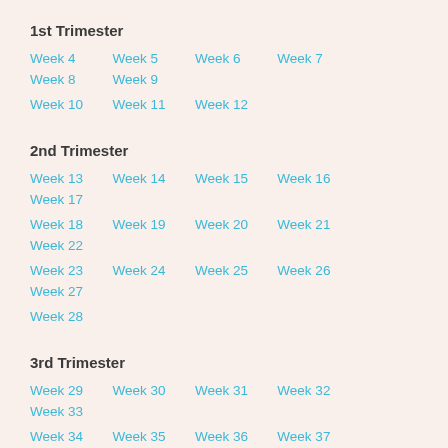1st Trimester
Week 4  Week 5  Week 6  Week 7  Week 8  Week 9  Week 10  Week 11  Week 12
2nd Trimester
Week 13  Week 14  Week 15  Week 16  Week 17  Week 18  Week 19  Week 20  Week 21  Week 22  Week 23  Week 24  Week 25  Week 26  Week 27  Week 28
3rd Trimester
Week 29  Week 30  Week 31  Week 32  Week 33  Week 34  Week 35  Week 36  Week 37  Week 38  Week 39  Week 40